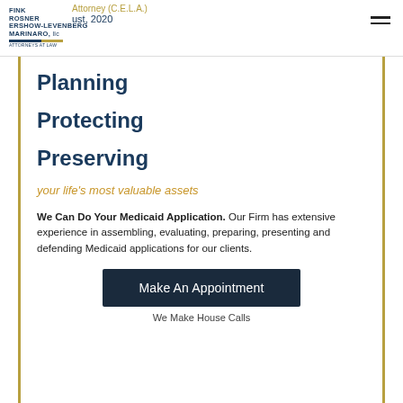Fink Rosner Ershow-Levenberg Marinaro, LLC — Attorney (C.E.L.A.) — Certified Elder Law — August, 2020
Planning
Protecting
Preserving
your life's most valuable assets
We Can Do Your Medicaid Application. Our Firm has extensive experience in assembling, evaluating, preparing, presenting and defending Medicaid applications for our clients.
Make An Appointment
We Make House Calls